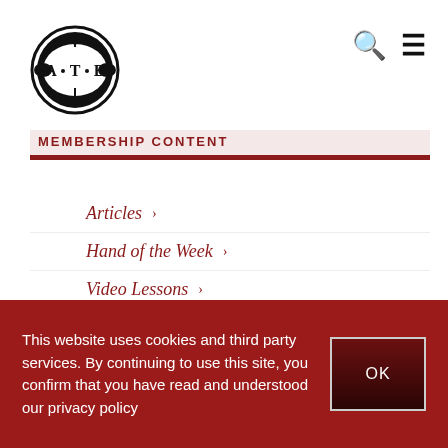[Figure (logo): ATB ornate circular logo with sword/cross design in black and white]
MEMBERSHIP CONTENT
Articles >
Hand of the Week >
Video Lessons >
All ♣♦♥♠
Beginners ♣
This website uses cookies and third party services. By continuing to use this site, you confirm that you have read and understood our privacy policy